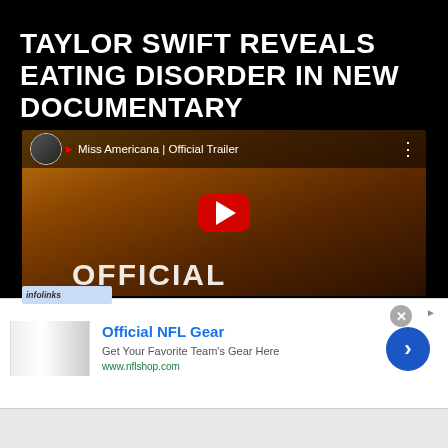TAYLOR SWIFT REVEALS EATING DISORDER IN NEW DOCUMENTARY
[Figure (screenshot): YouTube video thumbnail for 'Miss Americana | Official Trailer' showing Taylor Swift in a gold sequined outfit against a warm orange-toned background, with a red YouTube play button in the center. The video bar at top shows a circular thumbnail, YouTube logo, and the title 'Miss Americana | Official Trailer'. Text 'OFFICIAL' appears at the bottom.]
[Figure (infographic): Advertisement banner showing 'Official NFL Gear' with text 'Get Your Favorite Team's Gear Here' and URL 'www.nflshop.com'. Includes a product image on the left, an infolinks label overlay, a close button (x), an arrow button, and a blue circle arrow button on the right.]